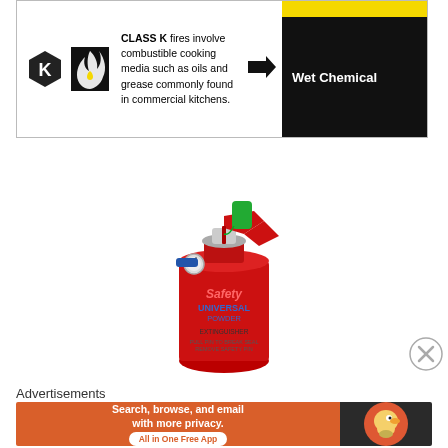[Figure (infographic): Class K fire type info box: hexagonal K icon, flame icon, description text 'CLASS K fires involve combustible cooking media such as oils and grease commonly found in commercial kitchens.', arrow pointing right, yellow bar and black 'Wet Chemical' label on right]
[Figure (photo): Red fire extinguisher labeled 'Safety UNIVERSAL POWDER EXTINGUISHER' with green safety tag, blue nozzle, silver pressure gauge, and trigger handle]
Advertisements
[Figure (other): DuckDuckGo advertisement banner: orange left side with text 'Search, browse, and email with more privacy. All in One Free App', dark right side with DuckDuckGo duck logo]